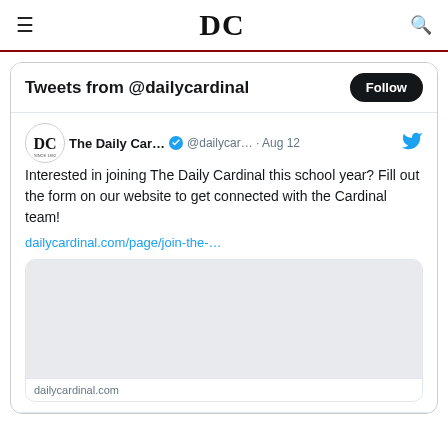DC
Tweets from @dailycardinal
The Daily Car... @dailycar... · Aug 12
Interested in joining The Daily Cardinal this school year? Fill out the form on our website to get connected with the Cardinal team!
dailycardinal.com/page/join-the-…
dailycardinal.com